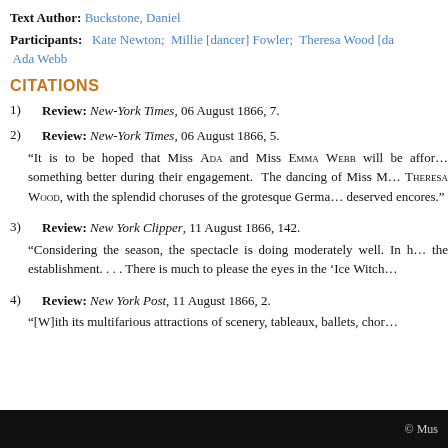Text Author: Buckstone, Daniel
Participants: Kate Newton; Millie [dancer] Fowler; Theresa Wood [da... Ada Webb
CITATIONS
1) Review: New-York Times, 06 August 1866, 7.
2) Review: New-York Times, 06 August 1866, 5.
“It is to be hoped that Miss Ada and Miss Emma Webb will be affor... something better during their engagement. The dancing of Miss M... Theresa Wood, with the splendid choruses of the grotesque Germa... deserved encores.”
3) Review: New York Clipper, 11 August 1866, 142.
“Considering the season, the spectacle is doing moderately well. In h... the establishment. . . . There is much to please the eyes in the ‘Ice Witch...
4) Review: New York Post, 11 August 1866, 2.
“[W]ith its multifarious attractions of scenery, tableaux, ballets, chor...
© Mus